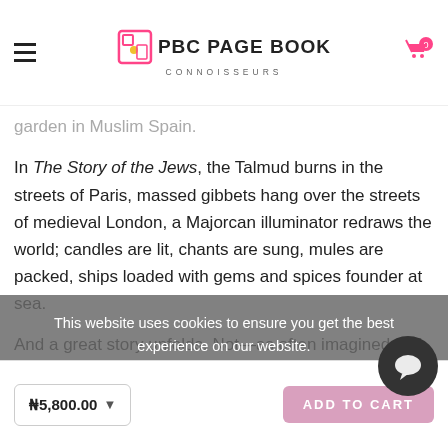PBC PAGE BOOK CONNOISSEURS
garden in Muslim Spain.
In The Story of the Jews, the Talmud burns in the streets of Paris, massed gibbets hang over the streets of medieval London, a Majorcan illuminator redraws the world; candles are lit, chants are sung, mules are packed, ships loaded with gems and spices founder at sea.
And a great story unfolds. Not—as often imagined—of a culture apart, but of a Jewish world immersed in and imprinted by the peoples among whom they have dwelled, from the Egyptians to the Greeks, from the Arabs to the Christians.
Which makes the story of the Jews everyone's story, too.
This website uses cookies to ensure you get the best experience on our website. Learn more
₦5,800.00   ADD TO CART